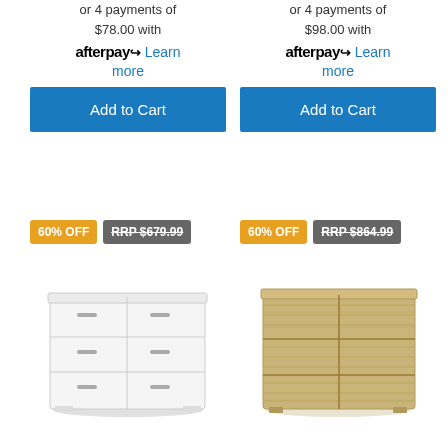or 4 payments of $78.00 with afterpay Learn more
Add to Cart
or 4 payments of $98.00 with afterpay Learn more
Add to Cart
60% OFF RRP $679.99
[Figure (photo): White six-drawer dresser with metal handles]
60% OFF RRP $864.99
[Figure (photo): Wood grain six-drawer dresser in light oak finish]